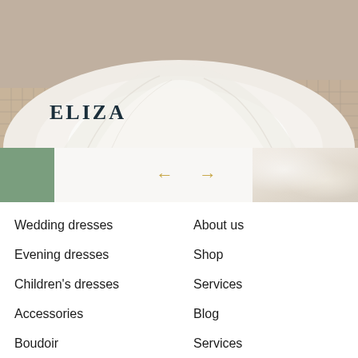[Figure (photo): Close-up photo of a white/ivory wedding dress skirt with flowing satin fabric spread on a tiled floor. The skirt fills most of the frame showing elegant draping.]
ELIZA
[Figure (infographic): Navigation arrows (left and right) in gold/tan color, centered between a sage green block on the left and a fabric texture image on the right.]
Wedding dresses
About us
Evening dresses
Shop
Children's dresses
Services
Accessories
Blog
Boudoir
Services